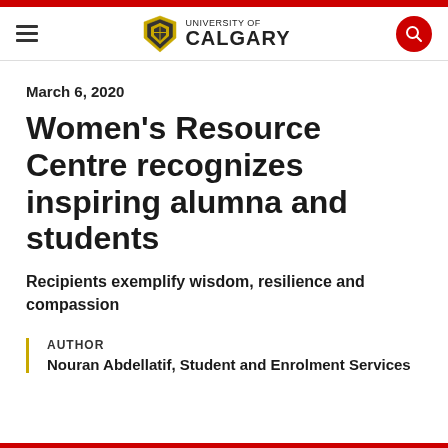University of Calgary
March 6, 2020
Women’s Resource Centre recognizes inspiring alumna and students
Recipients exemplify wisdom, resilience and compassion
AUTHOR
Nouran Abdellatif, Student and Enrolment Services